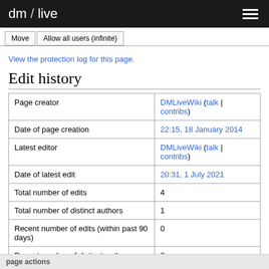dm / live
Move | Allow all users (infinite)
View the protection log for this page.
Edit history
|  |  |
| --- | --- |
| Page creator | DMLiveWiki (talk | contribs) |
| Date of page creation | 22:15, 18 January 2014 |
| Latest editor | DMLiveWiki (talk | contribs) |
| Date of latest edit | 20:31, 1 July 2021 |
| Total number of edits | 4 |
| Total number of distinct authors | 1 |
| Recent number of edits (within past 90 days) | 0 |
| Recent number of distinct authors | 0 |
page actions